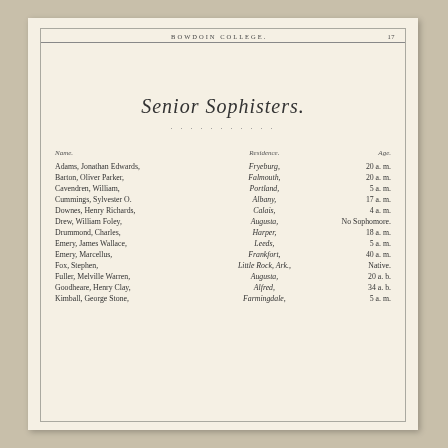BOWDOIN COLLEGE.   17
Senior Sophisters.
| Name | Residence | Age |
| --- | --- | --- |
| Adams, Jonathan Edwards, | Fryeburg, | 20 a. m. |
| Barton, Oliver Parker, | Falmouth, | 20 a. m. |
| Cavendren, William, | Portland, | 5 a. m. |
| Cummings, Sylvester O. | Albany, | 17 a. m. |
| Downes, Henry Richards, | Calais, | 4 a. m. |
| Drew, William Foley, | Augusta, | No Sophomore. |
| Drummond, Charles, | Harper, | 18 a. m. |
| Emery, James Wallace, | Leeds, | 5 a. m. |
| Emery, Marcellus, | Frankfort, | 40 a. m. |
| Fox, Stephen, | Little Rock, Ark., | Native. |
| Fuller, Melville Warren, | Augusta, | 20 a. b. |
| Goodheare, Henry Clay, | Alfred, | 34 a. b. |
| Kimball, George Stone, | Farmingdale, | 5 a. m. |